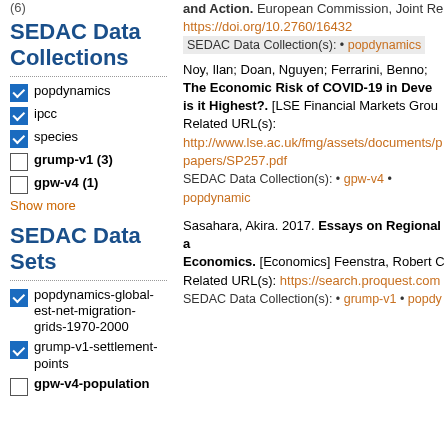(6)
and Action. European Commission, Joint Re
https://doi.org/10.2760/16432
SEDAC Data Collection(s): • popdynamics
SEDAC Data Collections
popdynamics (checked)
ipcc (checked)
species (checked)
grump-v1 (3) (unchecked)
gpw-v4 (1) (unchecked)
Show more
SEDAC Data Sets
popdynamics-global-est-net-migration-grids-1970-2000 (checked)
grump-v1-settlement-points (checked)
gpw-v4-population (unchecked)
Noy, Ilan; Doan, Nguyen; Ferrarini, Benno; The Economic Risk of COVID-19 in Deve is it Highest?. [LSE Financial Markets Grou Related URL(s): http://www.lse.ac.uk/fmg/assets/documents/papers/SP257.pdf
SEDAC Data Collection(s): • gpw-v4 • popdynamic
Sasahara, Akira. 2017. Essays on Regional a Economics. [Economics] Feenstra, Robert C Related URL(s): https://search.proquest.com
SEDAC Data Collection(s): • grump-v1 • popdy